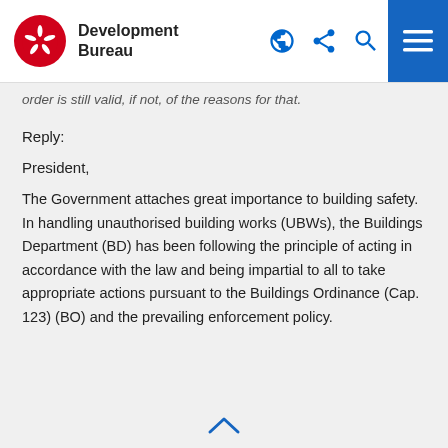Development Bureau
order is still valid, if not, of the reasons for that.
Reply:
President,
The Government attaches great importance to building safety. In handling unauthorised building works (UBWs), the Buildings Department (BD) has been following the principle of acting in accordance with the law and being impartial to all to take appropriate actions pursuant to the Buildings Ordinance (Cap. 123) (BO) and the prevailing enforcement policy.